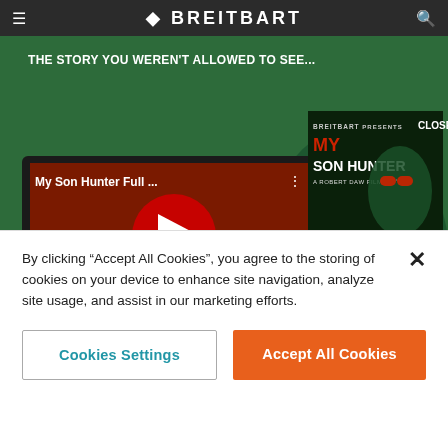BREITBART
[Figure (screenshot): Breitbart 'My Son Hunter' movie promotional banner ad with YouTube video thumbnail showing red play button, text 'THE STORY YOU WEREN'T ALLOWED TO SEE...', 'WATCH THE TRAILER', 'COMING SEPT 7', 'PRE-ORDER NOW', 'MYSONHUNTER.COM']
Management and no responsive records subject to the FOIA were located," it said.
By clicking “Accept All Cookies”, you agree to the storing of cookies on your device to enhance site navigation, analyze site usage, and assist in our marketing efforts.
Cookies Settings
Accept All Cookies